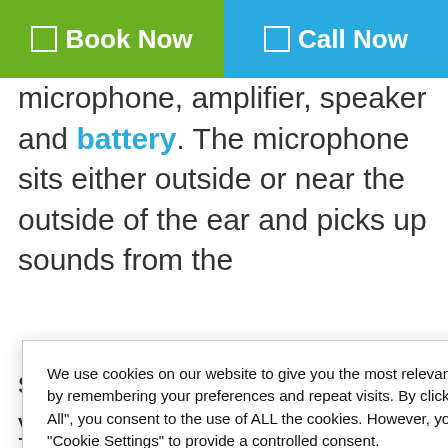✉ Book Now | ✆ Call Now
microphone, amplifier, speaker and battery. The microphone sits either outside or near the outside of the ear and picks up sounds from the
then to ing on
We use cookies on our website to give you the most relevant experience by remembering your preferences and repeat visits. By clicking "Accept All", you consent to the use of ALL the cookies. However, you may visit "Cookie Settings" to provide a controlled consent.
fier will vert the
sound waves and delivered to your ear